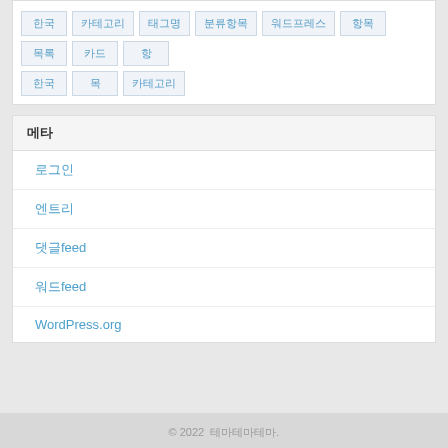[Figure (other): Grid of Korean tag/category buttons with light blue text on light gray background]
메타
로그인
엔트리
댓글feed
워드feed
WordPress.org
© 2022  테마테마테마.